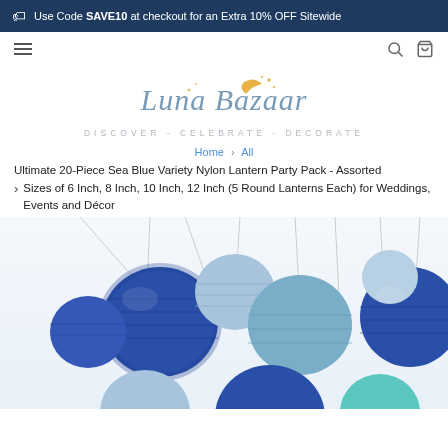Use Code SAVE10 at checkout for an Extra 10% OFF Sitewide
[Figure (logo): Luna Bazaar logo with moon icon and tagline Discover - Celebrate - Decorate]
Home > All
Ultimate 20-Piece Sea Blue Variety Nylon Lantern Party Pack - Assorted Sizes of 6 Inch, 8 Inch, 10 Inch, 12 Inch (5 Round Lanterns Each) for Weddings, Events and Décor
[Figure (photo): Product photo showing multiple blue and light blue round nylon lanterns hanging from strings against a white background]